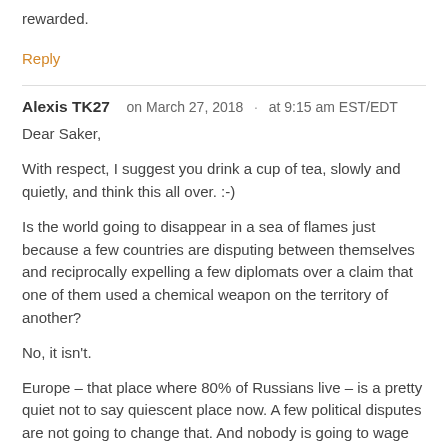rewarded.
Reply
Alexis TK27   on March 27, 2018  ·  at 9:15 am EST/EDT
Dear Saker,
With respect, I suggest you drink a cup of tea, slowly and quietly, and think this all over. :-)
Is the world going to disappear in a sea of flames just because a few countries are disputing between themselves and reciprocally expelling a few diplomats over a claim that one of them used a chemical weapon on the territory of another?
No, it isn't.
Europe – that place where 80% of Russians live – is a pretty quiet not to say quiescent place now. A few political disputes are not going to change that. And nobody is going to wage war, no matter whether the Skripals and Haley were poisoned on order of Vladimir Putin, or not.